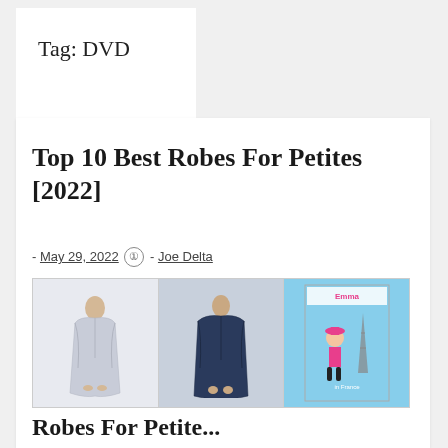Tag: DVD
Top 10 Best Robes For Petites [2022]
- May 29, 2022 - Joe Delta
[Figure (photo): Three product images side by side: two women's robes and a children's book cover titled Emma in France]
Robes For Petite...